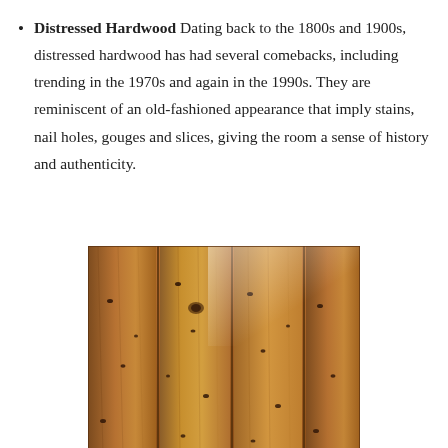Distressed Hardwood Dating back to the 1800s and 1900s, distressed hardwood has had several comebacks, including trending in the 1970s and again in the 1990s. They are reminiscent of an old-fashioned appearance that imply stains, nail holes, gouges and slices, giving the room a sense of history and authenticity.
[Figure (photo): Close-up photo of distressed hardwood flooring showing wide planks with nail holes, knots, and natural wood grain in warm brown tones.]